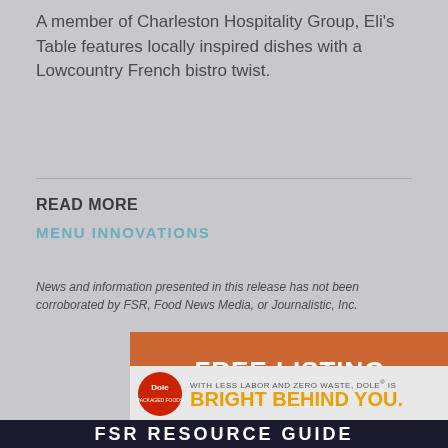A member of Charleston Hospitality Group, Eli's Table features locally inspired dishes with a Lowcountry French bistro twist.
READ MORE
MENU INNOVATIONS
News and information presented in this release has not been corroborated by FSR, Food News Media, or Journalistic, Inc.
[Figure (infographic): Orange advertisement banner reading FREE LISTING FOR YOUR COMPANY]
[Figure (infographic): Dole advertisement: WITH LESS LABOR AND ZERO WASTE, DOLE® IS BRIGHT BEHIND YOU.]
FSR RESOURCE GUIDE